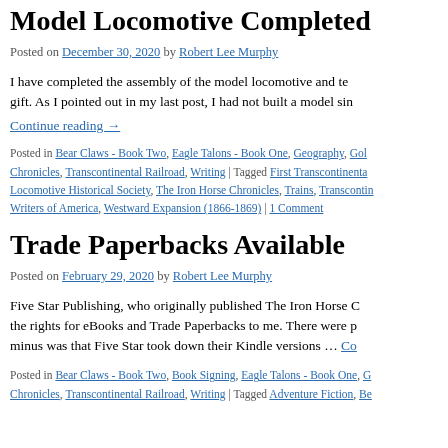Model Locomotive Completed
Posted on December 30, 2020 by Robert Lee Murphy
I have completed the assembly of the model locomotive and ten... gift. As I pointed out in my last post, I had not built a model sin...
Continue reading →
Posted in Bear Claws - Book Two, Eagle Talons - Book One, Geography, Gol... Chronicles, Transcontinental Railroad, Writing | Tagged First Transcontinenta... Locomotive Historical Society, The Iron Horse Chronicles, Trains, Transcontinui... Writers of America, Westward Expansion (1866-1869) | 1 Comment
Trade Paperbacks Available
Posted on February 29, 2020 by Robert Lee Murphy
Five Star Publishing, who originally published The Iron Horse C... the rights for eBooks and Trade Paperbacks to me. There were p... minus was that Five Star took down their Kindle versions … Co...
Posted in Bear Claws - Book Two, Book Signing, Eagle Talons - Book One, G... Chronicles, Transcontinental Railroad, Writing | Tagged Adventure Fiction, Be...